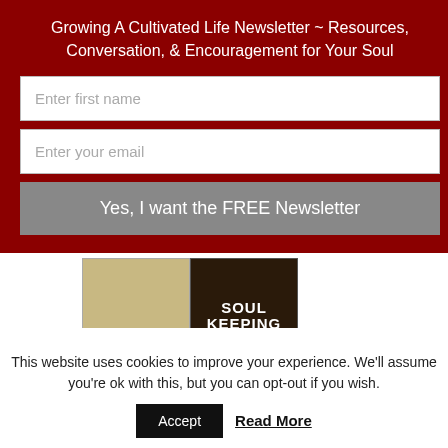Growing A Cultivated Life Newsletter ~ Resources, Conversation, & Encouragement for Your Soul
Enter first name
Enter your email
Yes, I want the FREE Newsletter
[Figure (illustration): Two book covers side by side: left is a textured beige book by David G. Benner about Revisioning Christian Nurture and Counsel; right is 'Soul Keeping' dark cover with ornate object]
This website uses cookies to improve your experience. We'll assume you're ok with this, but you can opt-out if you wish.
Accept
Read More